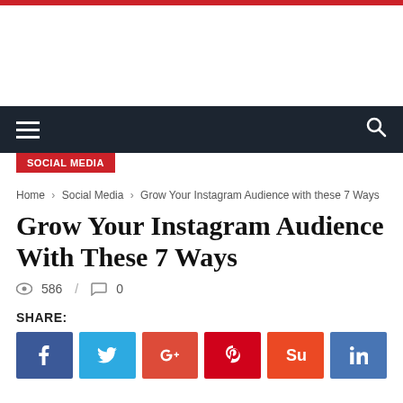SOCIAL MEDIA
Home › Social Media › Grow Your Instagram Audience with these 7 Ways
Grow Your Instagram Audience With These 7 Ways
586 / 0
SHARE:
[Figure (other): Social share buttons: Facebook, Twitter, Google+, Pinterest, StumbleUpon, LinkedIn]